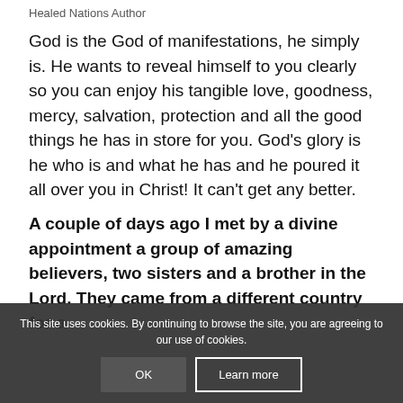October 7, 2018 / in Healing Word / by Tony Francis
Healed Nations Author
God is the God of manifestations, he simply is. He wants to reveal himself to you clearly so you can enjoy his tangible love, goodness, mercy, salvation, protection and all the good things he has in store for you. God's glory is he who is and what he has and he poured it all over you in Christ! It can't get any better.
A couple of days ago I met by a divine appointment a group of amazing believers, two sisters and a brother in the Lord. They came from a different country for a few days and I had the privilege...
This site uses cookies. By continuing to browse the site, you are agreeing to our use of cookies.